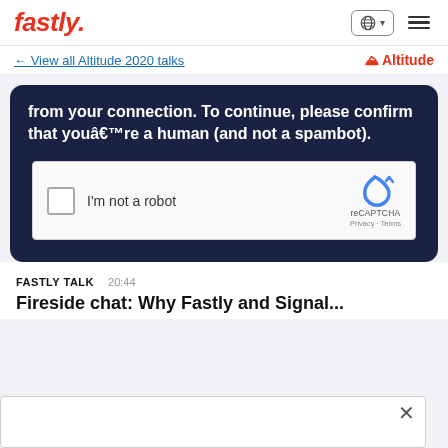fastly. [globe icon] [hamburger menu]
← View all Altitude 2020 talks    ⛰ Altitude
[Figure (screenshot): Dark navy modal/card showing reCAPTCHA verification. Text reads: 'from your connection. To continue, please confirm that you're a human (and not a spambot).' Below is a reCAPTCHA checkbox widget with 'I'm not a robot' text and the reCAPTCHA logo, Privacy and Terms links.]
FASTLY TALK    20:44
Fireside chat: Why Fastly and Signal...
[Figure (screenshot): White overlay box at bottom of page with close X button]